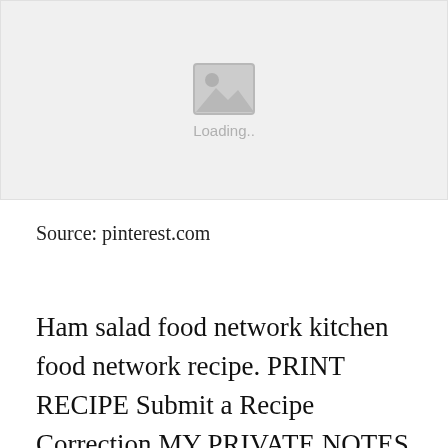[Figure (photo): Image placeholder showing a loading state with a mountain/image icon and 'Loading..' text on a grey background]
Source: pinterest.com
Ham salad food network kitchen food network recipe. PRINT RECIPE Submit a Recipe Correction MY PRIVATE NOTES Add a Note. Swipe to order and well deliver. Recipe of Ham Salad Recipe Food Network Kitchen Food Network food with